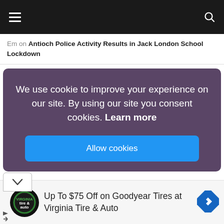Navigation bar with hamburger menu and search icon
Em on Antioch Police Activity Results in Jack London School Lockdown
We use cookie to improve your experience on our site. By using our site you consent cookies. Learn more
Allow cookies
[Figure (screenshot): Advertisement: Up To $75 Off on Goodyear Tires at Virginia Tire & Auto, with tire & auto logo and directional arrow icon]